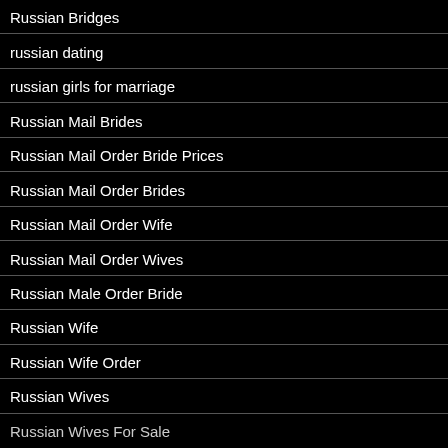Russian Bridges
russian dating
russian girls for marriage
Russian Mail Brides
Russian Mail Order Bride Prices
Russian Mail Order Brides
Russian Mail Order Wife
Russian Mail Order Wives
Russian Male Order Bride
Russian Wife
Russian Wife Order
Russian Wives
Russian Wives For Sale